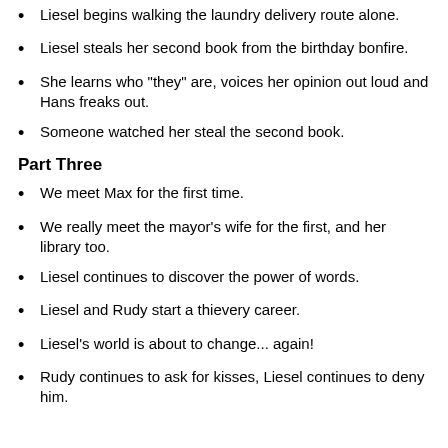Liesel begins walking the laundry delivery route alone.
Liesel steals her second book from the birthday bonfire.
She learns who "they" are, voices her opinion out loud and Hans freaks out.
Someone watched her steal the second book.
Part Three
We meet Max for the first time.
We really meet the mayor's wife for the first, and her library too.
Liesel continues to discover the power of words.
Liesel and Rudy start a thievery career.
Liesel's world is about to change... again!
Rudy continues to ask for kisses, Liesel continues to deny him.